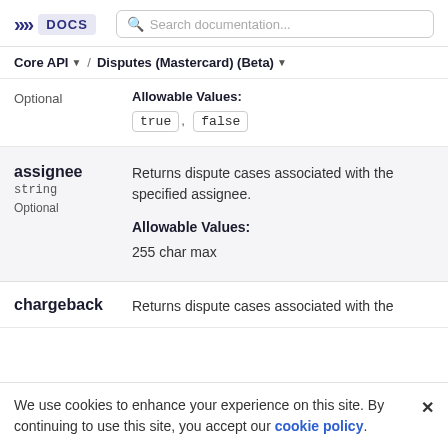>>> DOCS  Search documentation...
Core API ▾  /  Disputes (Mastercard) (Beta) ▾
Optional
Allowable Values: true , false
assignee
string
Optional
Returns dispute cases associated with the specified assignee.
Allowable Values:
255 char max
chargeback
Returns dispute cases associated with the
We use cookies to enhance your experience on this site. By continuing to use this site, you accept our cookie policy.